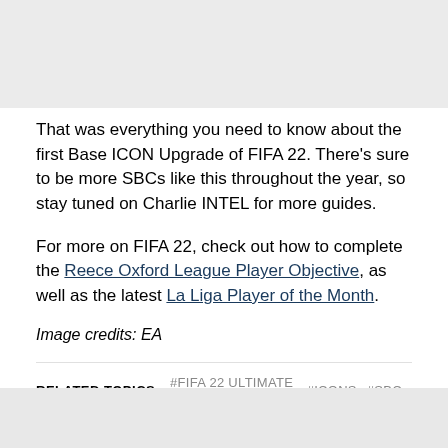[Figure (photo): Gray image placeholder at top of page]
That was everything you need to know about the first Base ICON Upgrade of FIFA 22. There's sure to be more SBCs like this throughout the year, so stay tuned on Charlie INTEL for more guides.
For more on FIFA 22, check out how to complete the Reece Oxford League Player Objective, as well as the latest La Liga Player of the Month.
Image credits: EA
RELATED TOPICS: #FIFA 22 ULTIMATE TEAM #ICONS #SBC